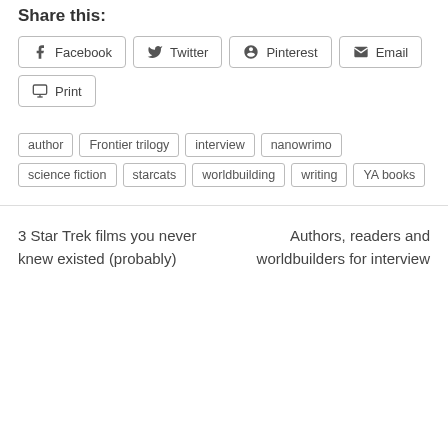Share this:
Facebook
Twitter
Pinterest
Email
Print
author
Frontier trilogy
interview
nanowrimo
science fiction
starcats
worldbuilding
writing
YA books
3 Star Trek films you never knew existed (probably)
Authors, readers and worldbuilders for interview